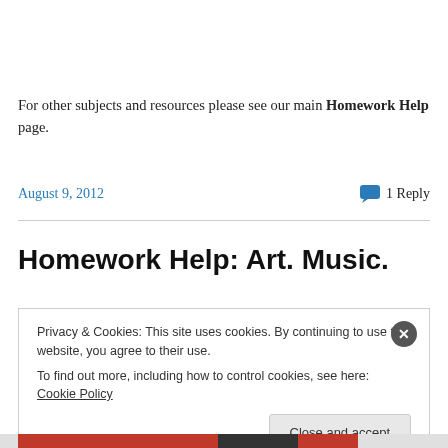For other subjects and resources please see our main Homework Help page.
August 9, 2012    1 Reply
Homework Help: Art. Music.
Privacy & Cookies: This site uses cookies. By continuing to use this website, you agree to their use.
To find out more, including how to control cookies, see here: Cookie Policy
Close and accept